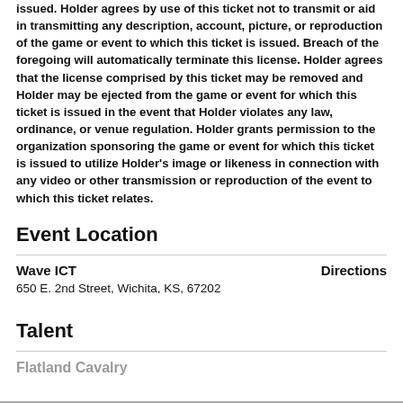issued. Holder agrees by use of this ticket not to transmit or aid in transmitting any description, account, picture, or reproduction of the game or event to which this ticket is issued. Breach of the foregoing will automatically terminate this license. Holder agrees that the license comprised by this ticket may be removed and Holder may be ejected from the game or event for which this ticket is issued in the event that Holder violates any law, ordinance, or venue regulation. Holder grants permission to the organization sponsoring the game or event for which this ticket is issued to utilize Holder's image or likeness in connection with any video or other transmission or reproduction of the event to which this ticket relates.
Event Location
Wave ICT
650 E. 2nd Street, Wichita, KS, 67202
Directions
Talent
Flatland Cavalry